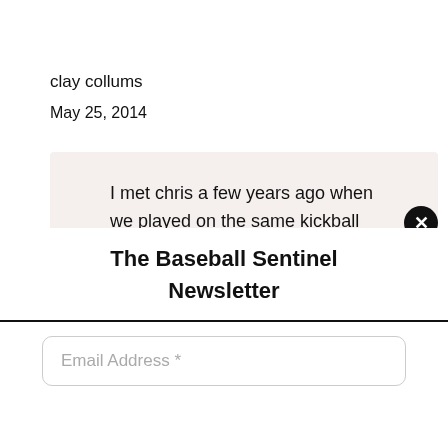clay collums
May 25, 2014
I met chris a few years ago when we played on the same kickball team. He is one of the nicest and most genuine guys I know. The royals organization doesn't give him the recognition he deserves. Any
The Baseball Sentinel
Newsletter
Email Address *